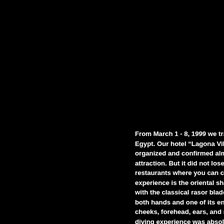From March 1 - 8, 1999 we travelled t Egypt. Our hotel "Lagona Village" wa organized and confirmed almost ever attraction. But it did not lose its flair restaurants where you can comfortab experience is the oriental shaving pro with the classical rasor blade twice. T both hands and one of its ends  betwe cheeks, forehead, ears, and nose. The diving experience was absolutely grea Celsius. The flora and fauna in those  thing was a fully-grown Manta Ray sw disappeared into  the deep blue water